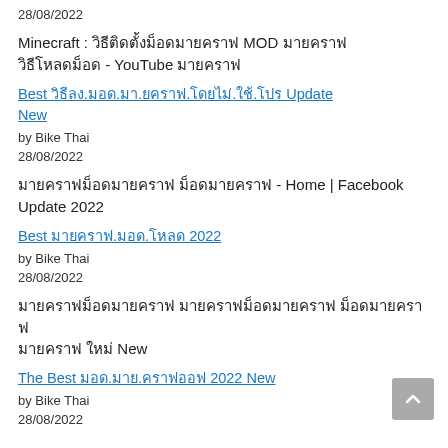28/08/2022
Minecraft : วิธีติดตั้งม็อดมายคราฟ MOD มายคราฟ วิธีโหลดม็อด - YouTube มายคราฟ
Best วิธีลง.มอด.มา.ยคราฟ.โดยไม่.ใช้.โปร Update New
by Bike Thai
28/08/2022
มายคราฟม็อดมายคราฟ ม็อดมายคราฟ - Home | Facebook Update 2022
Best มายคราฟ.มอด.โหลด 2022
by Bike Thai
28/08/2022
มายคราฟม็อดมายคราฟ มายคราฟม็อดมายคราฟ ม็อดมายคราฟ มายคราฟ ใหม่ New
The Best มอด.มาย.คราฟออฟ 2022 New
by Bike Thai
28/08/2022